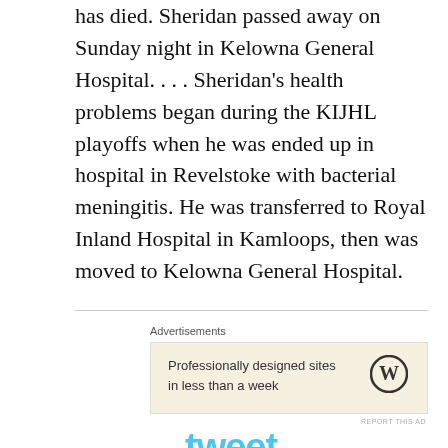has died. Sheridan passed away on Sunday night in Kelowna General Hospital. . . . Sheridan's health problems began during the KIJHL playoffs when he was ended up in hospital in Revelstoke with bacterial meningitis. He was transferred to Royal Inland Hospital in Kamloops, then was moved to Kelowna General Hospital.
Advertisements
[Figure (other): Advertisement box with beige background showing 'Professionally designed sites in less than a week' with WordPress logo]
REPORT THIS AD
[Figure (logo): Tweet of the Day logo with Twitter bird mascot and stylized text reading 'tweet OF THE DAY' in light blue]